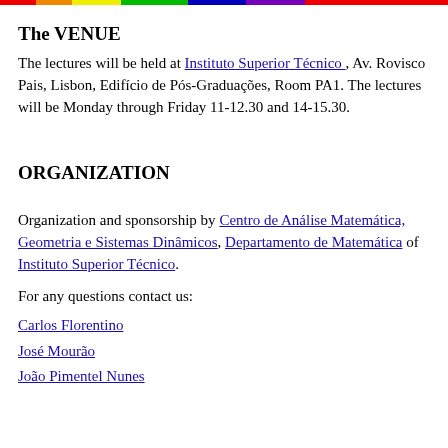The VENUE
The lectures will be held at Instituto Superior Técnico , Av. Rovisco Pais, Lisbon, Edifício de Pós-Graduações, Room PA1. The lectures will be Monday through Friday 11-12.30 and 14-15.30.
ORGANIZATION
Organization and sponsorship by Centro de Análise Matemática, Geometria e Sistemas Dinâmicos, Departamento de Matemática of Instituto Superior Técnico.
For any questions contact us:
Carlos Florentino
José Mourão
João Pimentel Nunes